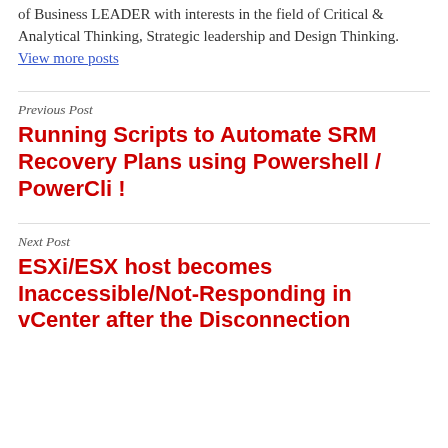of Business LEADER with interests in the field of Critical & Analytical Thinking, Strategic leadership and Design Thinking. View more posts
Previous Post
Running Scripts to Automate SRM Recovery Plans using Powershell / PowerCli !
Next Post
ESXi/ESX host becomes Inaccessible/Not-Responding in vCenter after the Disconnection